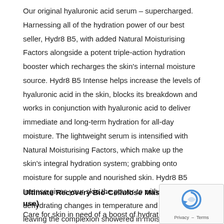Our original hyaluronic acid serum – supercharged. Harnessing all of the hydration power of our best seller, Hydr8 B5, with added Natural Moisturising Factors alongside a potent triple-action hydration booster which recharges the skin's internal moisture source. Hydr8 B5 Intense helps increase the levels of hyaluronic acid in the skin, blocks its breakdown and works in conjunction with hyaluronic acid to deliver immediate and long-term hydration for all-day moisture. The lightweight serum is intensified with Natural Moisturising Factors, which make up the skin's integral hydration system; grabbing onto moisture for supple and nourished skin. Hydr8 B5 Intense gives your skin the power to withstand dehydrating changes in temperature and humidity, leaving the complexion showered in moisture.
Ultimate Recovery Bio-Cellulose Mask (6 single use)
Care for skin in need of a boost of hydration with this deeply so... and nourishing bio-cellulose mask. Enriched with detoxifying minerals